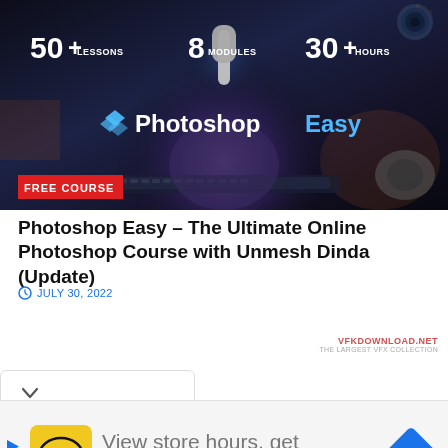[Figure (photo): Dark-themed promotional banner for Photoshop Easy online course showing a person at a studio desk with microphone, text overlay shows '50+ LESSONS 8 MODULES 30+ HOURS' and 'PhotoshopEasy' branding with 'FREE COURSE' badge]
Photoshop Easy – The Ultimate Online Photoshop Course with Unmesh Dinda (Update)
JULY 30, 2022
[Figure (screenshot): Watermark text reading VFKDOWNLOAD.NET with subtitle THE LARGEST VFX COLLECTION]
[Figure (infographic): Accordion/dropdown UI element with chevron down arrow]
[Figure (infographic): Advertisement banner: HC salon logo (yellow square with HC text) with text 'View store hours, get directions, or call your salon!' and blue navigation diamond icon on right, play arrow and X on left]